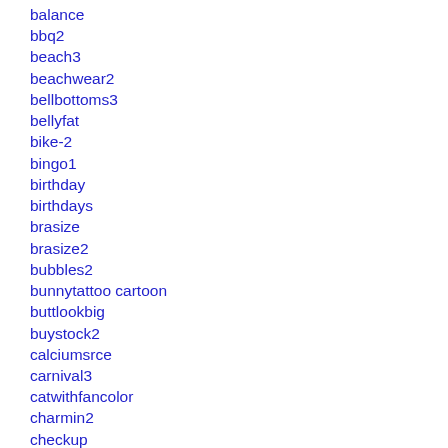balance
bbq2
beach3
beachwear2
bellbottoms3
bellyfat
bike-2
bingo1
birthday
birthdays
brasize
brasize2
bubbles2
bunnytattoo cartoon
buttlookbig
buystock2
calciumsrce
carnival3
catwithfancolor
charmin2
checkup
chiro2
chocbuffet
chocolateunderdesk
clapper
classroom2
coming or going
complexion
day of the week panties
deadbodies
dentist visit
designer depends